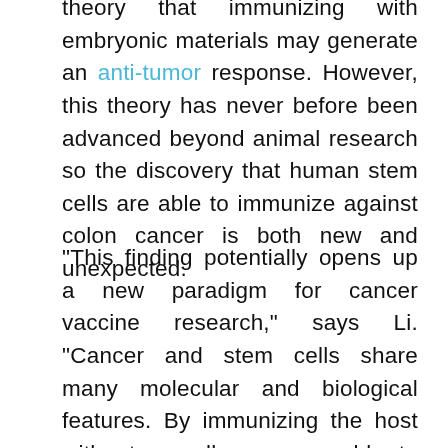theory that immunizing with embryonic materials may generate an anti-tumor response. However, this theory has never before been advanced beyond animal research so the discovery that human stem cells are able to immunize against colon cancer is both new and unexpected.
"This finding potentially opens up a new paradigm for cancer vaccine research," says Li. "Cancer and stem cells share many molecular and biological features. By immunizing the host with stem cells, we are able to 'fool' the immune system to believe that cancer cells are present and thus to initiate a tumor-combating immune program."
The research is the first of its kind to implicate the role of human stem cells in vaccinating against